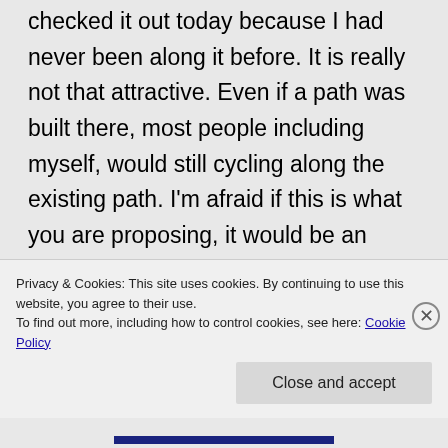checked it out today because I had never been along it before. It is really not that attractive. Even if a path was built there, most people including myself, would still cycling along the existing path. I'm afraid if this is what you are proposing, it would be an expensive path that few would use leaving the existing conflicts and safety problems along the existing path.
Privacy & Cookies: This site uses cookies. By continuing to use this website, you agree to their use.
To find out more, including how to control cookies, see here: Cookie Policy